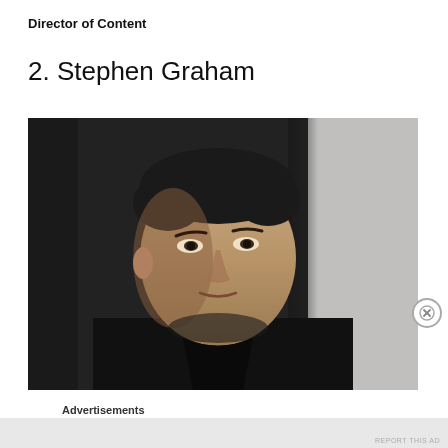Director of Content
2. Stephen Graham
[Figure (photo): Portrait photo of Stephen Graham, a man with dark hair wearing a black jacket, looking directly at the camera with a serious expression. Background is dark on the left and light/white on the right.]
Advertisements